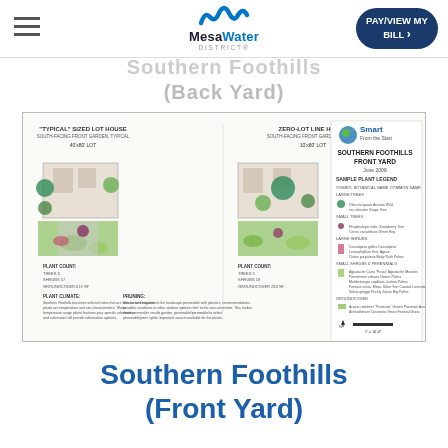MesaWater DISTRICT® | PAY/VIEW MY BILL
Southern Foothills (Back Yard)
[Figure (illustration): Southern Foothills Front Yard landscape plan showing a 'Typical' Sized Lot House (south-facing front garden, typical) on a 40'x80' lot and a Zero-Lot Line House (south-facing front garden, typical) on a 10'x80' lot, with a plant legend, plant counts, design notes, Smart From the Start branding, and a north arrow with scale.]
Southern Foothills (Front Yard)